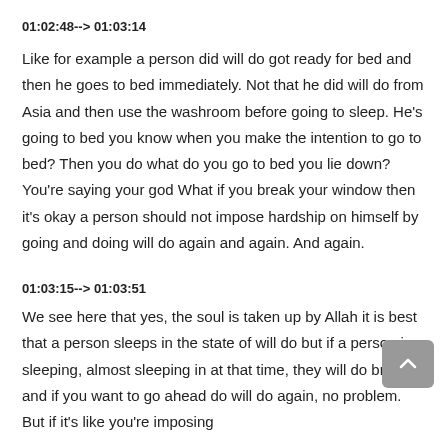01:02:48--> 01:03:14
Like for example a person did will do got ready for bed and then he goes to bed immediately. Not that he did will do from Asia and then use the washroom before going to sleep. He's going to bed you know when you make the intention to go to bed? Then you do what do you go to bed you lie down? You're saying your god What if you break your window then it's okay a person should not impose hardship on himself by going and doing will do again and again. And again.
01:03:15--> 01:03:51
We see here that yes, the soul is taken up by Allah it is best that a person sleeps in the state of will do but if a person is sleeping, almost sleeping in at that time, they will do breaks and if you want to go ahead do will do again, no problem. But if it's like you're imposing